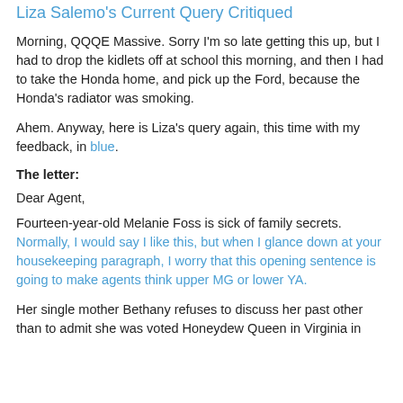Liza Salemo's Current Query Critiqued
Morning, QQQE Massive. Sorry I'm so late getting this up, but I had to drop the kidlets off at school this morning, and then I had to take the Honda home, and pick up the Ford, because the Honda's radiator was smoking.
Ahem. Anyway, here is Liza's query again, this time with my feedback, in blue.
The letter:
Dear Agent,
Fourteen-year-old Melanie Foss is sick of family secrets. Normally, I would say I like this, but when I glance down at your housekeeping paragraph, I worry that this opening sentence is going to make agents think upper MG or lower YA.
Her single mother Bethany refuses to discuss her past other than to admit she was voted Honeydew Queen in Virginia in